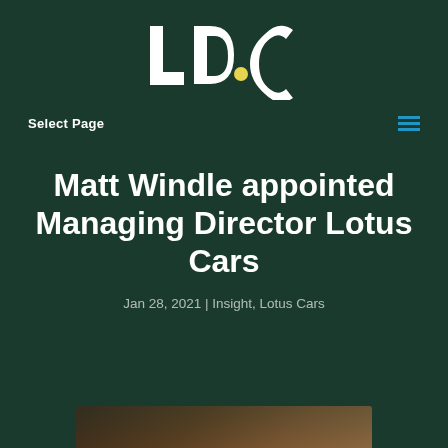[Figure (logo): LDC logo — white letters L, D, C with a yellow dot accent on a dark green background]
Select Page
Matt Windle appointed Managing Director Lotus Cars
Jan 28, 2021 | Insight, Lotus Cars
[Figure (photo): Partial bottom strip of a photo, showing a warm brown/golden interior or car detail]